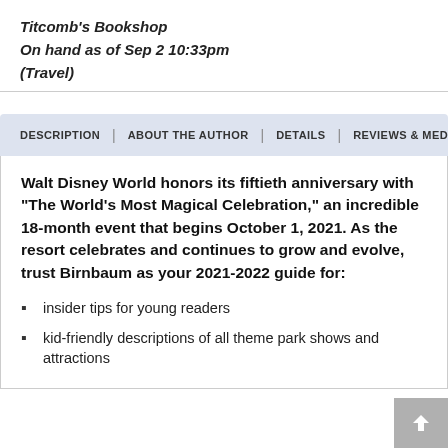Titcomb's Bookshop
On hand as of Sep 2 10:33pm
(Travel)
DESCRIPTION | ABOUT THE AUTHOR | DETAILS | REVIEWS & MEDIA
Walt Disney World honors its fiftieth anniversary with "The World's Most Magical Celebration," an incredible 18-month event that begins October 1, 2021. As the resort celebrates and continues to grow and evolve, trust Birnbaum as your 2021-2022 guide for:
insider tips for young readers
kid-friendly descriptions of all theme park shows and attractions